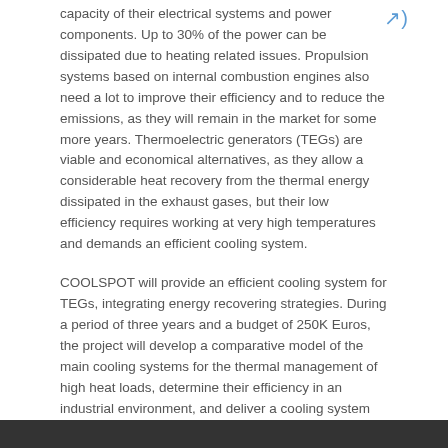capacity of their electrical systems and power components. Up to 30% of the power can be dissipated due to heating related issues. Propulsion systems based on internal combustion engines also need a lot to improve their efficiency and to reduce the emissions, as they will remain in the market for some more years. Thermoelectric generators (TEGs) are viable and economical alternatives, as they allow a considerable heat recovery from the thermal energy dissipated in the exhaust gases, but their low efficiency requires working at very high temperatures and demands an efficient cooling system.
COOLSPOT will provide an efficient cooling system for TEGs, integrating energy recovering strategies. During a period of three years and a budget of 250K Euros, the project will develop a comparative model of the main cooling systems for the thermal management of high heat loads, determine their efficiency in an industrial environment, and deliver a cooling system for the automotive industry. Nevertheless, main conclusions and design directives can be extrapolated to other cooling applications.